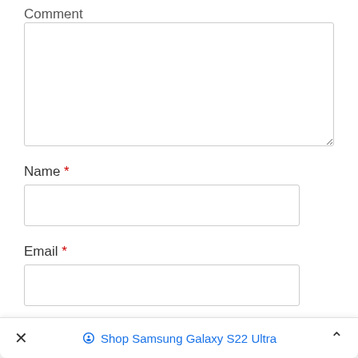Comment
[Figure (screenshot): A large empty textarea (comment input box) with a resize handle at bottom-right]
Name *
[Figure (screenshot): A single-line text input box for Name]
Email *
[Figure (screenshot): A single-line text input box for Email]
Website
[Figure (screenshot): A partially visible single-line text input box for Website]
✕   Shop Samsung Galaxy S22 Ultra   ∧